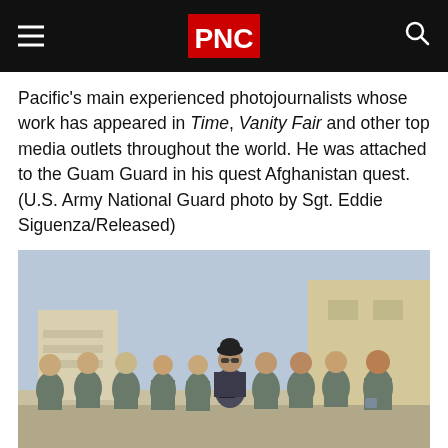PNC
Pacific’s main experienced photojournalists whose work has appeared in Time, Vanity Fair and other top media outlets throughout the world. He was attached to the Guam Guard in his quest Afghanistan quest. (U.S. Army National Guard photo by Sgt. Eddie Siguenza/Released)
[Figure (photo): Group photo of approximately ten men in grey military/police uniforms standing together outdoors near a building, with one person in the center wearing a black hat, sunglasses, and a tactical vest with a camera.]